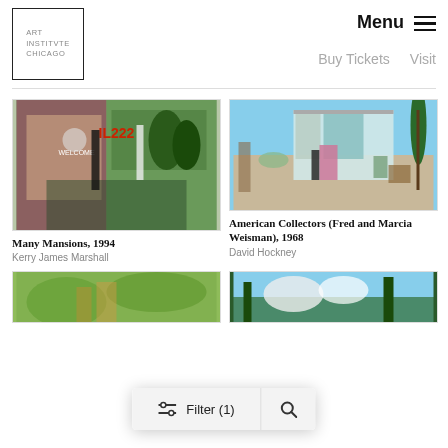ART INSTITUTE CHICAGO
Menu
Buy Tickets   Visit
[Figure (photo): Painting 'Many Mansions' 1994 by Kerry James Marshall - colorful outdoor scene with Black figures, a sign reading 'WELCOME' and 'IL222', lush greenery]
Many Mansions, 1994
Kerry James Marshall
[Figure (photo): Painting 'American Collectors (Fred and Marcia Weisman)' 1968 by David Hockney - man in dark suit and woman in pink dress standing outside a modernist house]
American Collectors (Fred and Marcia Weisman), 1968
David Hockney
[Figure (photo): Partial view of a colorful impressionist-style painting at the bottom left]
[Figure (photo): Partial view of a landscape painting with trees and sky at the bottom right]
Filter (1)